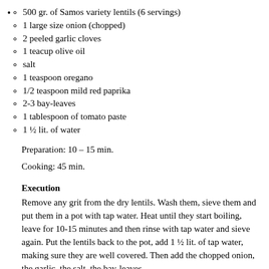500 gr. of Samos variety lentils (6 servings)
1 large size onion (chopped)
2 peeled garlic cloves
1 teacup olive oil
salt
1 teaspoon oregano
1/2 teaspoon mild red paprika
2-3 bay-leaves
1 tablespoon of tomato paste
1 ½ lit. of water
Preparation: 10 – 15 min.
Cooking: 45 min.
Execution
Remove any grit from the dry lentils. Wash them, sieve them and put them in a pot with tap water. Heat until they start boiling, leave for 10-15 minutes and then rinse with tap water and sieve again. Put the lentils back to the pot, add 1 ½ lit. of tap water, making sure they are well covered. Then add the chopped onion, the garlic, the salt, the bay-leaves